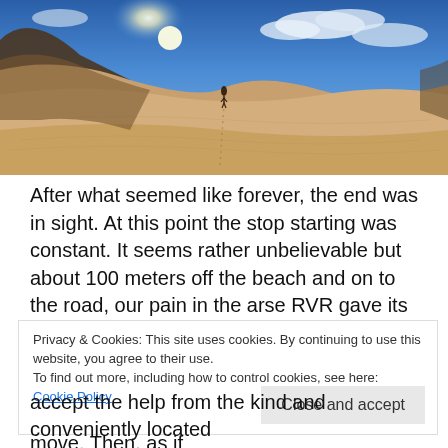[Figure (photo): Panoramic photo of vast sandy desert dunes under a bright sun with blue sky and clouds. A lone person stands in the distance on the dunes, with footprints visible in the sand.]
After what seemed like forever, the end was in sight. At this point the stop starting was constant. It seems rather unbelievable but about 100 meters off the beach and on to the road, our pain in the arse RVR gave its last breath, rolled to a stop and would go on no more. I mean great we were off the fricking beach, but we were still in the middle of bloody nowhere with a car that wouldn't move. Then, as if
Privacy & Cookies: This site uses cookies. By continuing to use this website, you agree to their use.
To find out more, including how to control cookies, see here:
Cookie Policy

Close and accept
accept the help from the kind and conveniently located